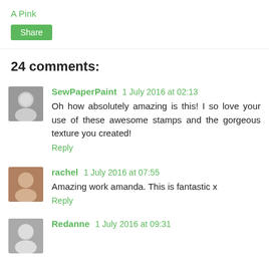A Pink
Share
24 comments:
SewPaperPaint 1 July 2016 at 02:13
Oh how absolutely amazing is this! I so love your use of these awesome stamps and the gorgeous texture you created!
Reply
rachel 1 July 2016 at 07:55
Amazing work amanda. This is fantastic x
Reply
Redanne 1 July 2016 at 09:31